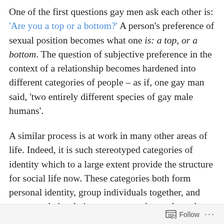One of the first questions gay men ask each other is: 'Are you a top or a bottom?' A person's preference of sexual position becomes what one is: a top, or a bottom. The question of subjective preference in the context of a relationship becomes hardened into different categories of people – as if, one gay man said, 'two entirely different species of gay male humans'.
A similar process is at work in many other areas of life. Indeed, it is such stereotyped categories of identity which to a large extent provide the structure for social life now. These categories both form personal identity, group individuals together, and structure their relations to one another and to other groups.
We can see this in the process of electoral campaigning:
Follow